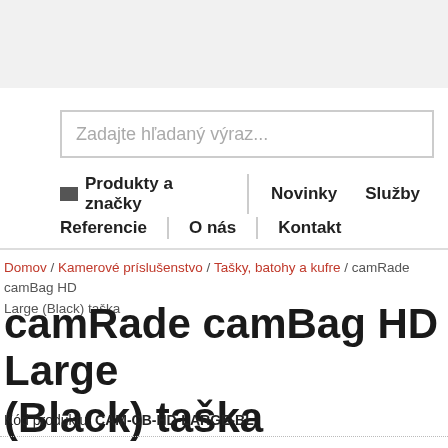Zadajte hľadaný výraz...
Produkty a značky | Novinky | Služby | Referencie | O nás | Kontakt
Domov / Kamerové príslušenstvo / Tašky, batohy a kufre / camRade camBag HD Large (Black) taška
camRade camBag HD Large (Black) taška
Kód produktu: CAM-CB-HD-LARGE-BL